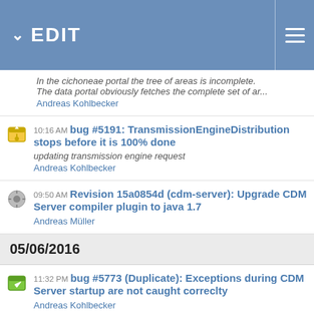EDIT
In the cichoneae portal the tree of areas is incomplete. The data portal obviously fetches the complete set of ar...
Andreas Kohlbecker
10:16 AM bug #5191: TransmissionEngineDistribution stops before it is 100% done
updating transmission engine request
Andreas Kohlbecker
09:50 AM Revision 15a0854d (cdm-server): Upgrade CDM Server compiler plugin to java 1.7
Andreas Müller
05/06/2016
11:32 PM bug #5773 (Duplicate): Exceptions during CDM Server startup are not caught correclty
Andreas Kohlbecker
05:49 PM bug #5773 (Duplicate): Exceptions during CDM Server startup are not caught correclty
Currently if an error appears during startup of CDM Server (e.g. during term loading) this is not